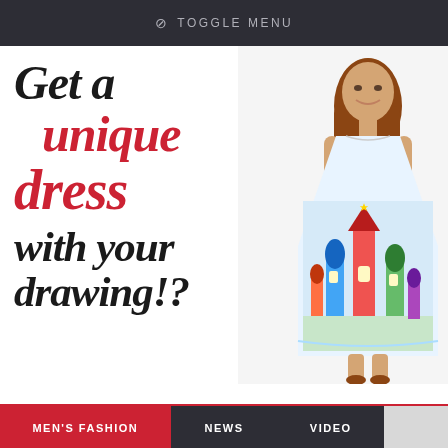TOGGLE MENU
Get a unique dress with your drawing!?
[Figure (photo): Young girl smiling and wearing a colorful sleeveless dress printed with a drawing of a colorful Russian-style cathedral/church (resembling Saint Basil's Cathedral). The dress is an A-line style with vivid colors.]
MEN'S FASHION   NEWS   VIDEO